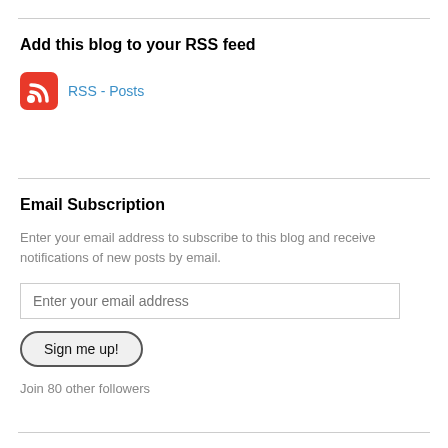Add this blog to your RSS feed
RSS - Posts
Email Subscription
Enter your email address to subscribe to this blog and receive notifications of new posts by email.
Enter your email address
Sign me up!
Join 80 other followers